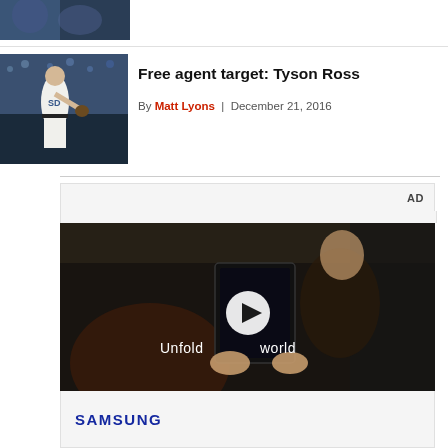[Figure (photo): Sports photo strip at top of page showing baseball players]
Free agent target: Tyson Ross
By Matt Lyons | December 21, 2016
[Figure (photo): Baseball pitcher in San Diego Padres uniform on field]
[Figure (other): AD - Samsung video advertisement showing woman holding foldable phone with text 'Unfold your world' and play button overlay]
SAMSUNG